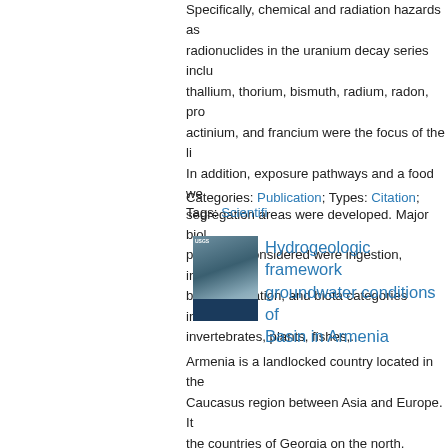Specifically, chemical and radiation hazards as radionuclides in the uranium decay series inclu thallium, thorium, bismuth, radium, radon, pro actinium, and francium were the focus of the li In addition, exposure pathways and a food we segregation areas were developed. Major biol pathways considered were ingestion, inhalatio bioaccumulation, and biota categories include invertebrates, plants, fishes,...
Categories: Publication; Types: Citation; Tags: Scientific
[Figure (photo): Thumbnail image of a publication cover showing a rocky/geological scene with blue background panel at bottom]
Hydrogeologic framework groundwater conditions of Basin in Armenia
Armenia is a landlocked country located in the Caucasus region between Asia and Europe. It the countries of Georgia on the north, Azerbaij on the south, and Turkey and Azerbaijan on th Basin is a transboundary basin in Armenia and Basin (or Ararat Valley) is an intermountain de the Aras River and its tributaries, which also fo between Armenia and Turkey and divide the ba southern regions. The Ararat Basin also conta